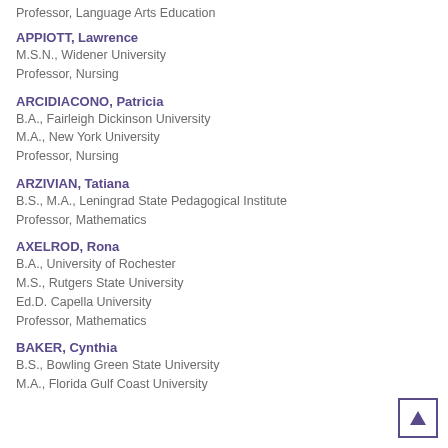Professor, Language Arts Education
APPIOTT, Lawrence
M.S.N., Widener University
Professor, Nursing
ARCIDIACONO, Patricia
B.A., Fairleigh Dickinson University
M.A., New York University
Professor, Nursing
ARZIVIAN, Tatiana
B.S., M.A., Leningrad State Pedagogical Institute
Professor, Mathematics
AXELROD, Rona
B.A., University of Rochester
M.S., Rutgers State University
Ed.D. Capella University
Professor, Mathematics
BAKER, Cynthia
B.S., Bowling Green State University
M.A., Florida Gulf Coast University